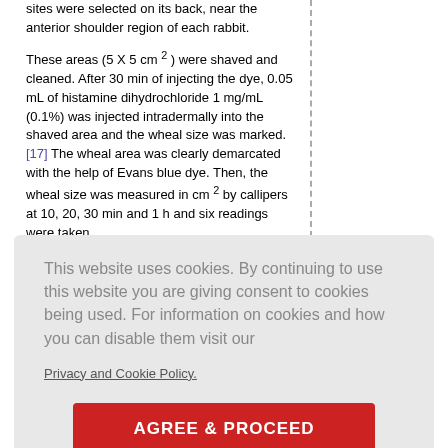sites were selected on its back, near the anterior shoulder region of each rabbit. These areas (5 X 5 cm 2 ) were shaved and cleaned. After 30 min of injecting the dye, 0.05 mL of histamine dihydrochloride 1 mg/mL (0.1%) was injected intradermally into the shaved area and the wheal size was marked. [17] The wheal area was clearly demarcated with the help of Evans blue dye. Then, the wheal size was measured in cm 2 by callipers at 10, 20, 30 min and 1 h and six readings were taken.
This website uses cookies. By continuing to use this website you are giving consent to cookies being used. For information on cookies and how you can disable them visit our
Privacy and Cookie Policy.
AGREE & PROCEED